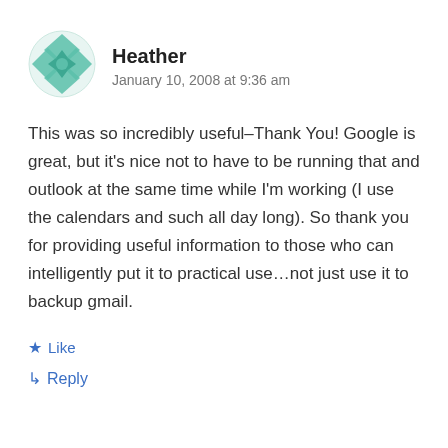[Figure (illustration): Teal/green decorative avatar icon with geometric diamond/star pattern, circular shape]
Heather
January 10, 2008 at 9:36 am
This was so incredibly useful–Thank You! Google is great, but it's nice not to have to be running that and outlook at the same time while I'm working (I use the calendars and such all day long). So thank you for providing useful information to those who can intelligently put it to practical use…not just use it to backup gmail.
Like
Reply